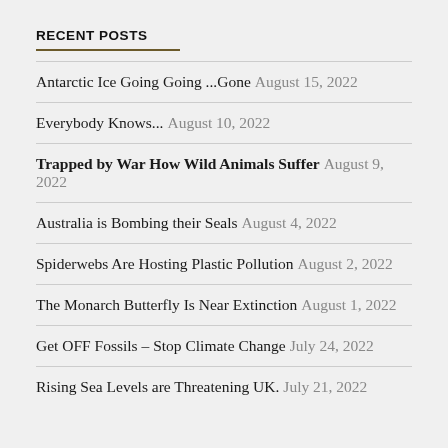RECENT POSTS
Antarctic Ice Going Going ...Gone August 15, 2022
Everybody Knows... August 10, 2022
Trapped by War How Wild Animals Suffer August 9, 2022
Australia is Bombing their Seals August 4, 2022
Spiderwebs Are Hosting Plastic Pollution August 2, 2022
The Monarch Butterfly Is Near Extinction August 1, 2022
Get OFF Fossils – Stop Climate Change July 24, 2022
Rising Sea Levels are Threatening UK. July 21, 2022